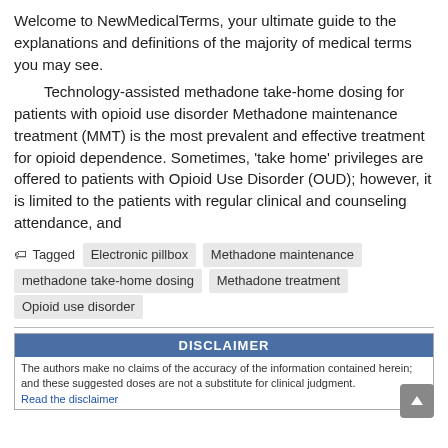Welcome to NewMedicalTerms, your ultimate guide to the explanations and definitions of the majority of medical terms you may see.
Technology-assisted methadone take-home dosing for patients with opioid use disorder Methadone maintenance treatment (MMT) is the most prevalent and effective treatment for opioid dependence. Sometimes, ‘take home’ privileges are offered to patients with Opioid Use Disorder (OUD); however, it is limited to the patients with regular clinical and counseling attendance, and
Tagged  Electronic pillbox  Methadone maintenance  methadone take-home dosing  Methadone treatment  Opioid use disorder
DISCLAIMER
The authors make no claims of the accuracy of the information contained herein; and these suggested doses are not a substitute for clinical judgment.
Read the disclaimer